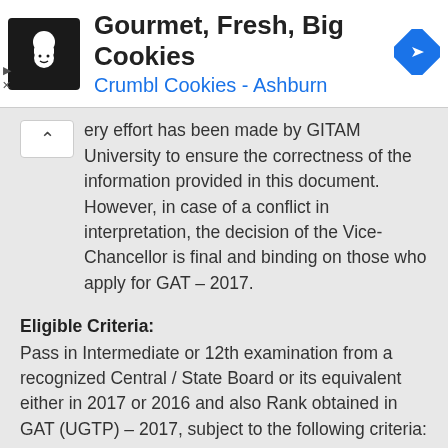[Figure (other): Advertisement banner: Crumbl Cookies - Ashburn. Shows cookie chef logo, text 'Gourmet, Fresh, Big Cookies' and 'Crumbl Cookies - Ashburn', with a blue navigation arrow icon. Ad markers (triangle and X) on the left.]
ery effort has been made by GITAM University to ensure the correctness of the information provided in this document. However, in case of a conflict in interpretation, the decision of the Vice-Chancellor is final and binding on those who apply for GAT – 2017.
Eligible Criteria:
Pass in Intermediate or 12th examination from a recognized Central / State Board or its equivalent either in 2017 or 2016 and also Rank obtained in GAT (UGTP) – 2017, subject to the following criteria: